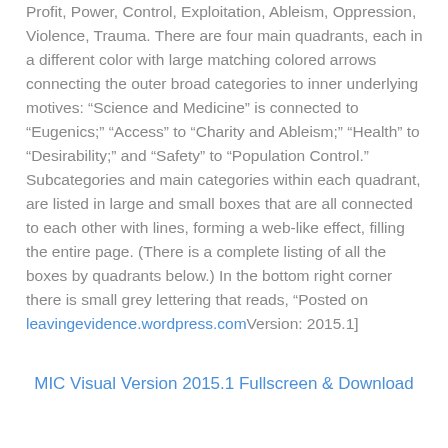Profit, Power, Control, Exploitation, Ableism, Oppression, Violence, Trauma. There are four main quadrants, each in a different color with large matching colored arrows connecting the outer broad categories to inner underlying motives: “Science and Medicine” is connected to “Eugenics;” “Access” to “Charity and Ableism;” “Health” to “Desirability;” and “Safety” to “Population Control.” Subcategories and main categories within each quadrant, are listed in large and small boxes that are all connected to each other with lines, forming a web-like effect, filling the entire page. (There is a complete listing of all the boxes by quadrants below.) In the bottom right corner there is small grey lettering that reads, “Posted on leavingevidence.wordpress.comVersion: 2015.1]
MIC Visual Version 2015.1 Fullscreen & Download